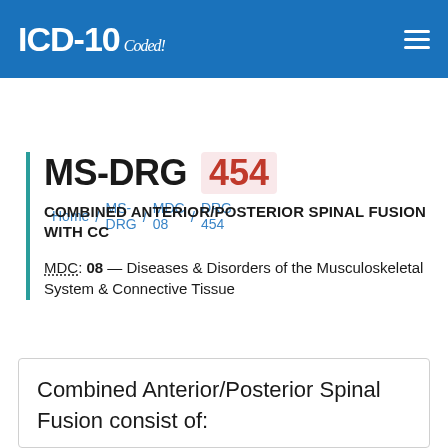ICD-10 Coded!
Home / MS-DRG / MDC 08 / DRG 454
MS-DRG 454
COMBINED ANTERIOR/POSTERIOR SPINAL FUSION WITH CC
MDC: 08 — Diseases & Disorders of the Musculoskeletal System & Connective Tissue
Combined Anterior/Posterior Spinal Fusion consist of: